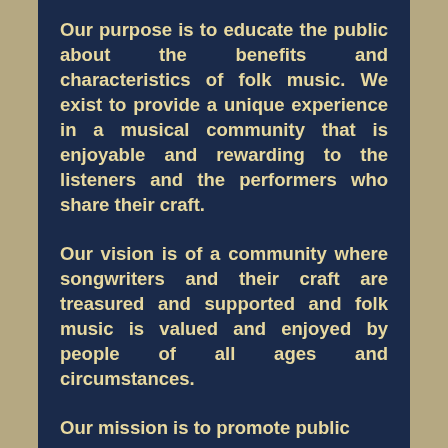Our purpose is to educate the public about the benefits and characteristics of folk music. We exist to provide a unique experience in a musical community that is enjoyable and rewarding to the listeners and the performers who share their craft.
Our vision is of a community where songwriters and their craft are treasured and supported and folk music is valued and enjoyed by people of all ages and circumstances.
Our mission is to promote public